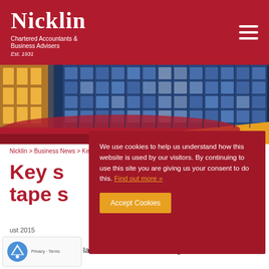Nicklin Chartered Accountants & Business Advisers Est. 1931
[Figure (photo): Night/dusk photograph of a modern glass office building with illuminated interior, curved facade with blue-tinted windows and warm yellow lighting inside.]
Nicklin > Business News > Key sectors in red tape spotlight
Key sectors in red tape spotlight
August 2015
We use cookies to help us understand how this website is used by our visitors. By continuing to use this site you are giving us your consent to do this. Find out more »
Accept Cookies
The government has launched new reviews designed